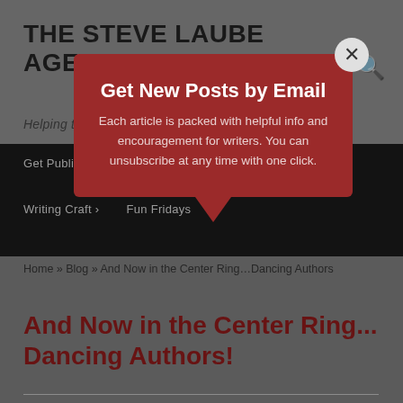THE STEVE LAUBE AGENCY
Helping to Change the World...Word by Word
Get Published | Book Proposals | Book Business | Writing Craft | Fun Fridays
Home » Blog » And Now in the Center Ring…Dancing Authors
And Now in the Center Ring...Dancing Authors!
[Figure (screenshot): Email subscription modal overlay with dark red background showing 'Get New Posts by Email' heading, descriptive text, and a close button]
Get New Posts by Email
Each article is packed with helpful info and encouragement for writers. You can unsubscribe at any time with one click.